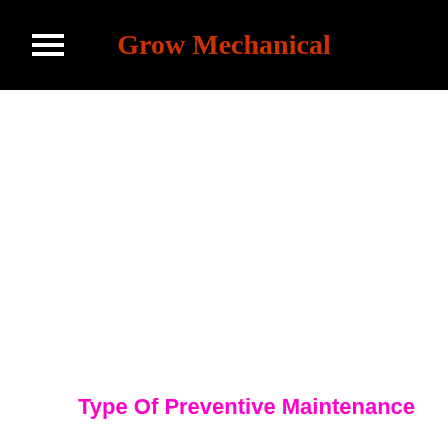Grow Mechanical
Type Of Preventive Maintenance